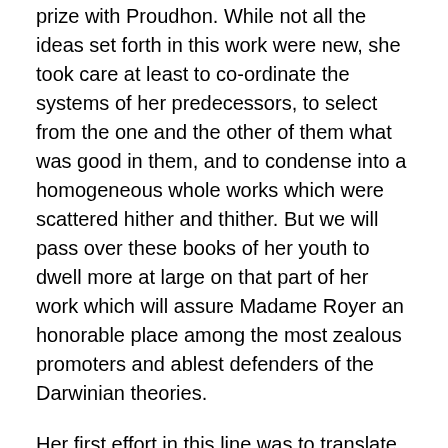prize with Proudhon. While not all the ideas set forth in this work were new, she took care at least to co-ordinate the systems of her predecessors, to select from the one and the other of them what was good in them, and to condense into a homogeneous whole works which were scattered hither and thither. But we will pass over these books of her youth to dwell more at large on that part of her work which will assure Madame Royer an honorable place among the most zealous promoters and ablest defenders of the Darwinian theories.
Her first effort in this line was to translate into French, in 1862, the Origin of Species of the great English naturalist, preceding the work with a preface which in itself alone constituted an excellent summary of the doctrine of evolution. She pointed out the results which logically follow from the transformist theory. She did not conceal from herself that in doing thus she would be the object of